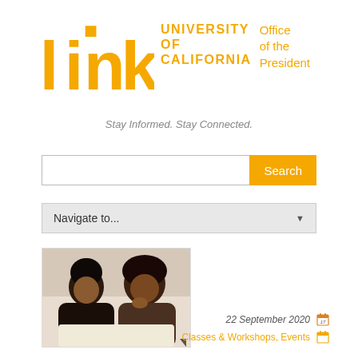[Figure (logo): LINK University of California Office of the President logo with orange stylized 'link' text and orange UC and Office of the President wordmarks]
Stay Informed. Stay Connected.
[Figure (other): Search input box with orange Search button]
[Figure (other): Navigate to... dropdown selector]
[Figure (photo): Photo of two young women, one looking at the other who is resting her chin on her hand]
22 September 2020
Classes & Workshops, Events